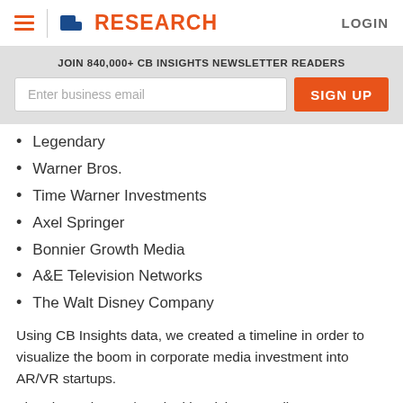CB INSIGHTS RESEARCH LOGIN
JOIN 840,000+ CB INSIGHTS NEWSLETTER READERS
Legendary
Warner Bros.
Time Warner Investments
Axel Springer
Bonnier Growth Media
A&E Television Networks
The Walt Disney Company
Using CB Insights data, we created a timeline in order to visualize the boom in corporate media investment into AR/VR startups.
The pioneering AR/VR deal involving a media corporate occurred in Q4'14, and was Burbank-California based Legendary Entertainment's investment in Magic Leap's $542M Series B. More than 6 months passed without